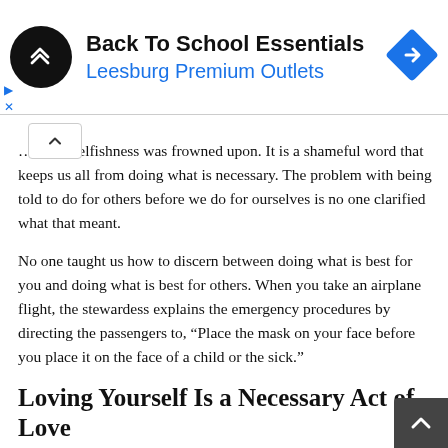[Figure (screenshot): Advertisement banner for 'Back To School Essentials' at Leesburg Premium Outlets, with a black circular logo with overlapping arrow symbols, a blue diamond-shaped navigation arrow on the right, and small play/close controls on the left.]
...act of selfishness was frowned upon. It is a shameful word that keeps us all from doing what is necessary. The problem with being told to do for others before we do for ourselves is no one clarified what that meant.
No one taught us how to discern between doing what is best for you and doing what is best for others. When you take an airplane flight, the stewardess explains the emergency procedures by directing the passengers to, “Place the mask on your face before you place it on the face of a child or the sick.”
Loving Yourself Is a Necessary Act of Love
Some may think this to be a selfish act, but is it really? It